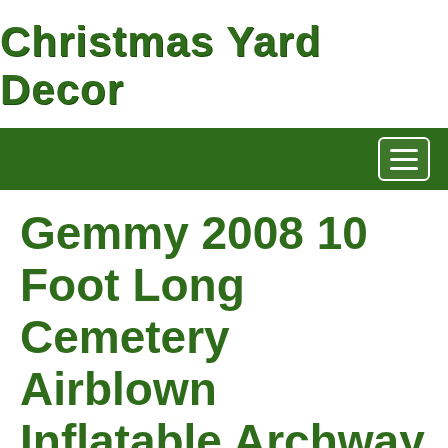Christmas Yard Decor
Gemmy 2008 10 Foot Long Cemetery Airblown Inflatable Archway
[Figure (photo): A photo showing a large inflatable archway deflated or partially inflated inside what appears to be a storage area or garage, with various items and boxes visible in the background.]